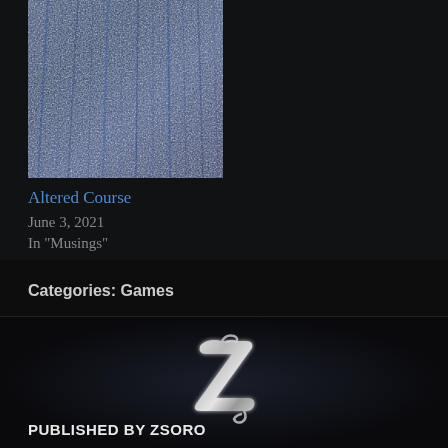[Figure (photo): Blue textured book cover image, partially visible in upper left]
Altered Course
June 3, 2021
In "Musings"
Categories: Games
[Figure (logo): Stylized silver Z logo / monogram for ZSORO publisher]
PUBLISHED BY ZSORO